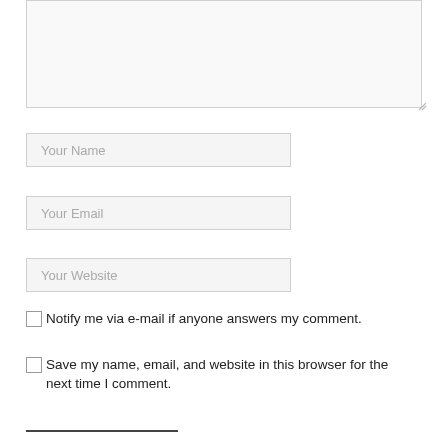[Figure (screenshot): A comment form textarea (large empty input box) at the top of the page, partially visible, with a resize handle at the bottom-right corner.]
Your Name
Your Email
Your Website
Notify me via e-mail if anyone answers my comment.
Save my name, email, and website in this browser for the next time I comment.